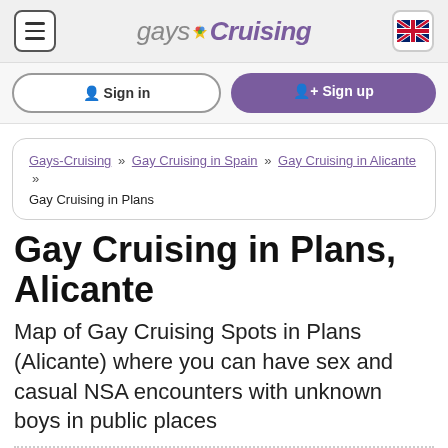gaysCruising
Sign in | Sign up
Gays-Cruising » Gay Cruising in Spain » Gay Cruising in Alicante » Gay Cruising in Plans
Gay Cruising in Plans, Alicante
Map of Gay Cruising Spots in Plans (Alicante) where you can have sex and casual NSA encounters with unknown boys in public places